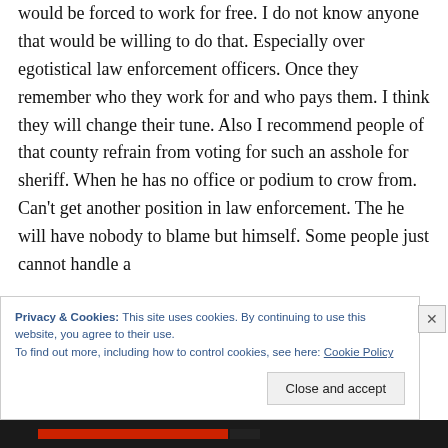would be forced to work for free. I do not know anyone that would be willing to do that. Especially over egotistical law enforcement officers. Once they remember who they work for and who pays them. I think they will change their tune. Also I recommend people of that county refrain from voting for such an asshole for sheriff. When he has no office or podium to crow from. Can't get another position in law enforcement. The he will have nobody to blame but himself. Some people just cannot handle a
Privacy & Cookies: This site uses cookies. By continuing to use this website, you agree to their use.
To find out more, including how to control cookies, see here: Cookie Policy